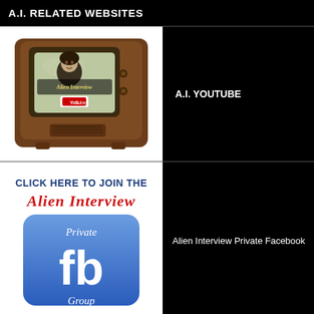A.I. RELATED WEBSITES
[Figure (illustration): Vintage wooden television set with 'Alien Interview' text on screen and YouTube logo, woman's face on screen]
A.I. YOUTUBE
[Figure (illustration): Click here to join the Alien Interview Private Facebook Group button with blue Facebook 'fb' icon]
Alien Interview Private Facebook